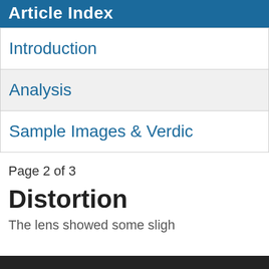Article Index
Introduction
Analysis
Sample Images & Verdic
Page 2 of 3
Distortion
The lens showed some sligh